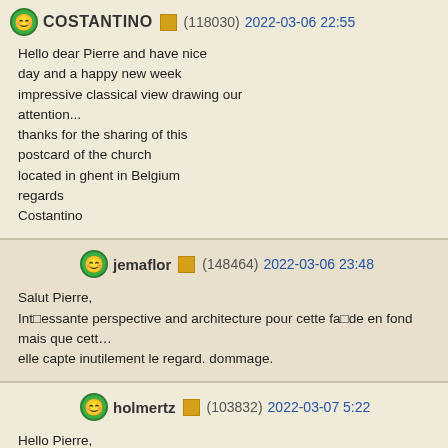COSTANTINO (118030) 2022-03-06 22:55 — Hello dear Pierre and have nice day and a happy new week impressive classical view drawing our attention... thanks for the sharing of this postcard of the church located in ghent in Belgium regards Costantino
jemaflor (148464) 2022-03-06 23:48 — Salut Pierre, Intéressante perspective and architecture pour cette façde en fond mais que cette elle capte inutilement le regard. dommage.
holmertz (103832) 2022-03-07 5:22 — Hello Pierre, The weather was rather dull, but the yellow van and other yellow items brighten look good in any kind of weather. You placed it well in the gap between the near right also looks interesting. Best regards, Gert